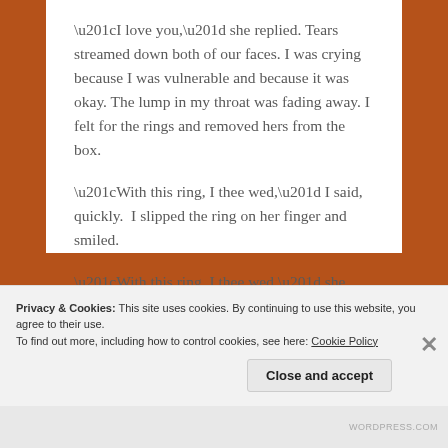“I love you,” she replied. Tears streamed down both of our faces. I was crying because I was vulnerable and because it was okay. The lump in my throat was fading away. I felt for the rings and removed hers from the box.
“With this ring, I thee wed,” I said, quickly.  I slipped the ring on her finger and smiled.
“With this ring, I thee wed,” she echoed. She slipped the ring on my finger.
I do not believe in mediums, but I do believe in the future.
Privacy & Cookies: This site uses cookies. By continuing to use this website, you agree to their use.
To find out more, including how to control cookies, see here: Cookie Policy
Close and accept